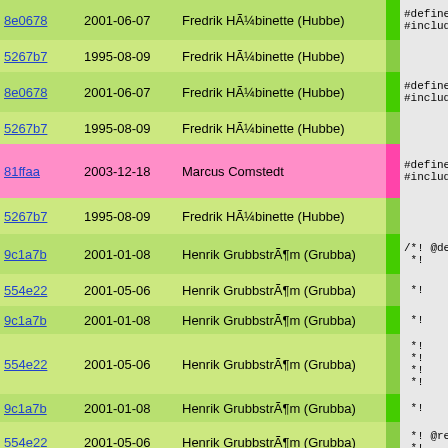| Hash | Date | Author | Bar | Code |
| --- | --- | --- | --- | --- |
| 8e0678 | 2001-06-07 | Fredrik HÃ¼binette (Hubbe) |  | #define N
#include " |
| 5267b7 | 1995-08-09 | Fredrik HÃ¼binette (Hubbe) |  |  |
| 8e0678 | 2001-06-07 | Fredrik HÃ¼binette (Hubbe) |  | #define UN
#include " |
| 5267b7 | 1995-08-09 | Fredrik HÃ¼binette (Hubbe) |  |  |
| 81ffaa | 2003-12-18 | Marcus Comstedt |  | #define AM
#include " |
| 5267b7 | 1995-08-09 | Fredrik HÃ¼binette (Hubbe) |  |  |
| 9c1a7b | 2001-01-08 | Henrik GrubbstrÃ¶m (Grubba) |  | /*! @decl
 *! |
| 554e22 | 2001-05-06 | Henrik GrubbstrÃ¶m (Grubba) |  | *!     Retu |
| 9c1a7b | 2001-01-08 | Henrik GrubbstrÃ¶m (Grubba) |  | *! |
| 554e22 | 2001-05-06 | Henrik GrubbstrÃ¶m (Grubba) |  | *!     Ther
*!     One
*!     look
*!     The |
| 9c1a7b | 2001-01-08 | Henrik GrubbstrÃ¶m (Grubba) |  | *! |
| 554e22 | 2001-05-06 | Henrik GrubbstrÃ¶m (Grubba) |  | *! @retur
*!     When |
| cbe8c9 | 2003-04-07 | Martin Nilsson |  | *!     this |